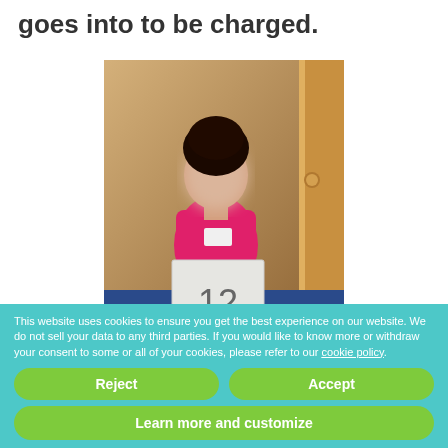goes into to be charged.
[Figure (photo): A young child with blurred face wearing a pink tank top, holding a white sign with the number 12 written on it, standing in front of a wooden door.]
This website uses cookies to ensure you get the best experience on our website. We do not sell your data to any third parties. If you would like to know more or withdraw your consent to some or all of your cookies, please refer to our cookie policy.
Reject
Accept
Learn more and customize